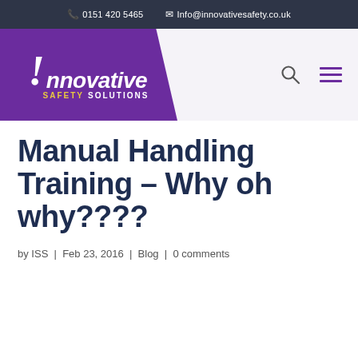0151 420 5465  Info@innovativesafety.co.uk
[Figure (logo): Innovative Safety Solutions logo — purple trapezoid background with exclamation mark and italic text 'Innovative' above 'SAFETY SOLUTIONS']
Manual Handling Training – Why oh why????
by ISS | Feb 23, 2016 | Blog | 0 comments